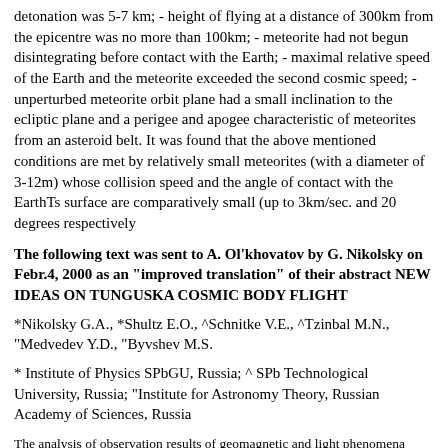detonation was 5-7 km; - height of flying at a distance of 300km from the epicentre was no more than 100km; - meteorite had not begun disintegrating before contact with the Earth; - maximal relative speed of the Earth and the meteorite exceeded the second cosmic speed; -unperturbed meteorite orbit plane had a small inclination to the ecliptic plane and a perigee and apogee characteristic of meteorites from an asteroid belt. It was found that the above mentioned conditions are met by relatively small meteorites (with a diameter of 3-12m) whose collision speed and the angle of contact with the EarthTs surface are comparatively small (up to 3km/sec. and 20 degrees respectively
The following text was sent to A. Ol'khovatov by G. Nikolsky on Febr.4, 2000 as an "improved translation" of their abstract NEW IDEAS ON TUNGUSKA COSMIC BODY FLIGHT
*Nikolsky G.A., *Shultz E.O., ^Schnitke V.E., ^Tzinbal M.N., "Medvedev Y.D., "Byvshev M.S.
* Institute of Physics SPbGU, Russia; ^ SPb Technological University, Russia; "Institute for Astronomy Theory, Russian Academy of Sciences, Russia
The analysis of observation results of geomagnetic and light phenomena during the days previous to Tunguska Cosmic Body (TCB) invasion provided us with proofs on periodicity of disturbances and the movements of their indication places from the Earth to the Moon. This data, along with the results